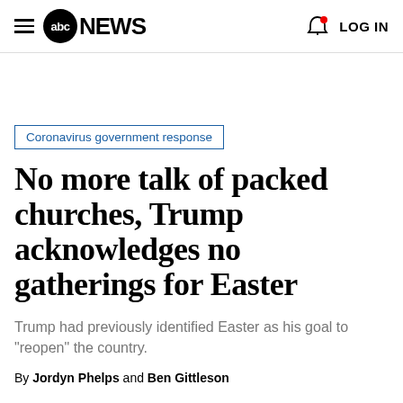abc NEWS  LOG IN
Coronavirus government response
No more talk of packed churches, Trump acknowledges no gatherings for Easter
Trump had previously identified Easter as his goal to "reopen" the country.
By Jordyn Phelps and Ben Gittleson